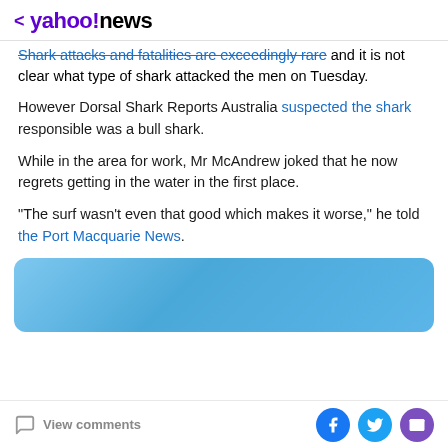< yahoo!news
Shark attacks and fatalities are exceedingly rare and it is not clear what type of shark attacked the men on Tuesday.
However Dorsal Shark Reports Australia suspected the shark responsible was a bull shark.
While in the area for work, Mr McAndrew joked that he now regrets getting in the water in the first place.
"The surf wasn't even that good which makes it worse," he told the Port Macquarie News.
[Figure (other): Blue gradient rounded rectangle banner/advertisement placeholder]
View comments | Share on Facebook, Twitter, Email